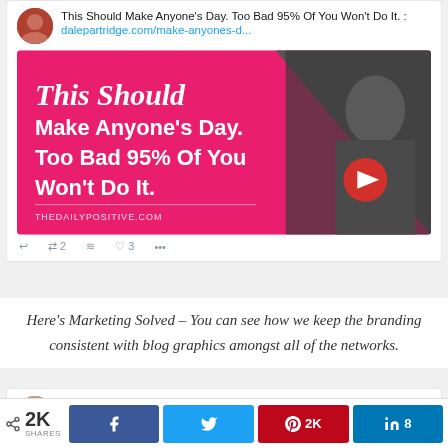[Figure (screenshot): Tweet card showing text 'This Should Make Anyone's Day. Too Bad 95% Of You Won't Do It.' with a link to dalepartridge.com/make-anyones-d... and an embedded pink promotional image from thedailypositive.com with a YouTube play button. Shows 2 retweets and 3 likes.]
Here's Marketing Solved – You can see how we keep the branding consistent with blog graphics amongst all of the networks.
[Figure (screenshot): Partial tweet card from Marketing Solved @MrktgSolved · Nov 13 reading 'Learn how to build a business using only']
< 2K SHARES  [Facebook]  [Twitter]  [Pinterest] 2K  [LinkedIn] 8